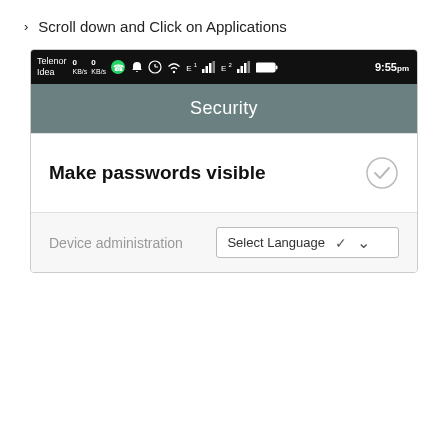Scroll down and Click on Applications
[Figure (screenshot): Android phone screenshot showing Security settings screen. Status bar at top with Telenor/Idea carrier, 0 KB/s data indicators, WhatsApp, alarm, clock, WiFi, signal icons, and 9:55pm time. App bar shows 'Security' title in gray. Below is a white card with 'Make passwords visible' setting and a checked circle icon. Bottom shows 'Device administration' label with a 'Select Language' dropdown.]